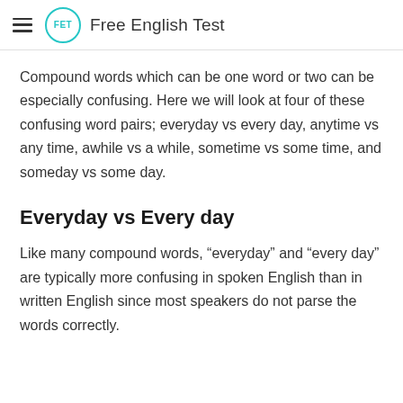Free English Test
Compound words which can be one word or two can be especially confusing. Here we will look at four of these confusing word pairs; everyday vs every day, anytime vs any time, awhile vs a while, sometime vs some time, and someday vs some day.
Everyday vs Every day
Like many compound words, “everyday” and “every day” are typically more confusing in spoken English than in written English since most speakers do not parse the words correctly.